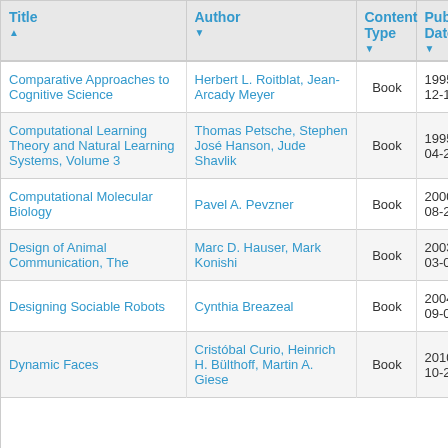| Title | Author | Content Type | Pub Date |
| --- | --- | --- | --- |
| Comparative Approaches to Cognitive Science | Herbert L. Roitblat, Jean-Arcady Meyer | Book | 1995-12-14 |
| Computational Learning Theory and Natural Learning Systems, Volume 3 | Thomas Petsche, Stephen José Hanson, Jude Shavlik | Book | 1995-04-27 |
| Computational Molecular Biology | Pavel A. Pevzner | Book | 2000-08-21 |
| Design of Animal Communication, The | Marc D. Hauser, Mark Konishi | Book | 2003-03-01 |
| Designing Sociable Robots | Cynthia Breazeal | Book | 2004-09-01 |
| Dynamic Faces | Cristóbal Curio, Heinrich H. Bülthoff, Martin A. Giese | Book | 2010-10-29 |